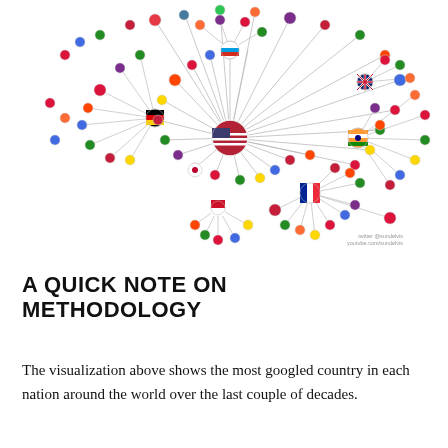[Figure (network-graph): A network graph showing country flag circles connected by lines, centered on the USA flag. Smaller country flag nodes radiate outward from the center, with France visible as a secondary hub in the lower right area. The image includes a watermark: twitter @sundelvis / youtube.com/sundelvis.]
A QUICK NOTE ON METHODOLOGY
The visualization above shows the most googled country in each nation around the world over the last couple of decades.